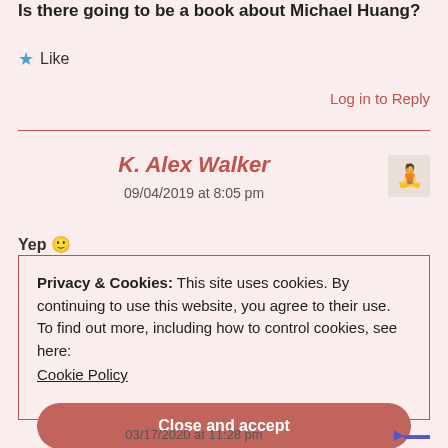Is there going to be a book about Michael Huang?
Like
Log in to Reply
K. Alex Walker
09/04/2019 at 8:05 pm
Yep 🙂
Privacy & Cookies: This site uses cookies. By continuing to use this website, you agree to their use.
To find out more, including how to control cookies, see here:
Cookie Policy
Close and accept
03/17/2020 at 11:28 pm